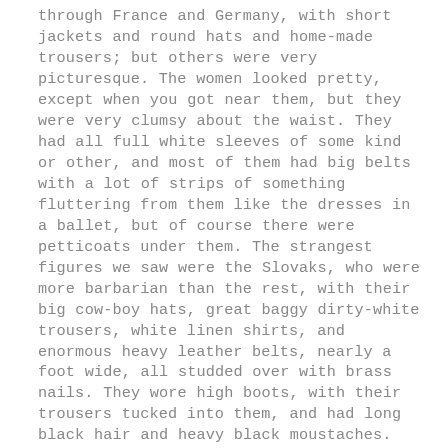through France and Germany, with short jackets and round hats and home-made trousers; but others were very picturesque. The women looked pretty, except when you got near them, but they were very clumsy about the waist. They had all full white sleeves of some kind or other, and most of them had big belts with a lot of strips of something fluttering from them like the dresses in a ballet, but of course there were petticoats under them. The strangest figures we saw were the Slovaks, who were more barbarian than the rest, with their big cow-boy hats, great baggy dirty-white trousers, white linen shirts, and enormous heavy leather belts, nearly a foot wide, all studded over with brass nails. They wore high boots, with their trousers tucked into them, and had long black hair and heavy black moustaches. They are very picturesque, but do not look prepossessing. On the stage they would be set down at once as some old Oriental band of brigands. They are, however, I am told, very harmless and rather wanting in natural self-assertion.